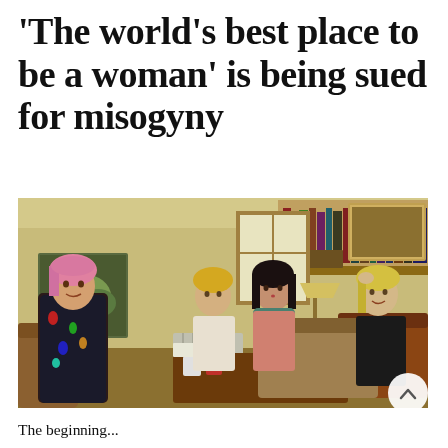'The world's best place to be a woman' is being sued for misogyny
[Figure (photo): Four women sitting in a cozy living room with bookshelves, around a wooden coffee table with mugs. One woman on the left has pink hair and a colorful dress; the others are seated on a sofa and chairs.]
The begi...